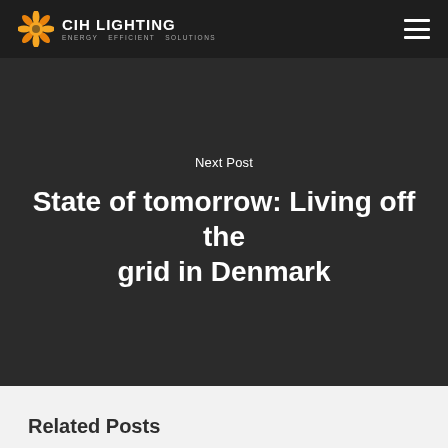CIH LIGHTING Energy Efficient Solutions
Next Post
State of tomorrow: Living off the grid in Denmark
Related Posts